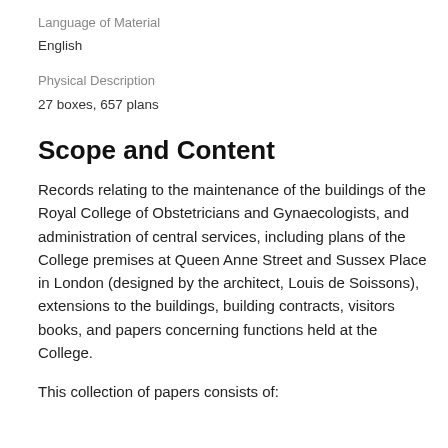Language of Material
English
Physical Description
27 boxes, 657 plans
Scope and Content
Records relating to the maintenance of the buildings of the Royal College of Obstetricians and Gynaecologists, and administration of central services, including plans of the College premises at Queen Anne Street and Sussex Place in London (designed by the architect, Louis de Soissons), extensions to the buildings, building contracts, visitors books, and papers concerning functions held at the College.
This collection of papers consists of: